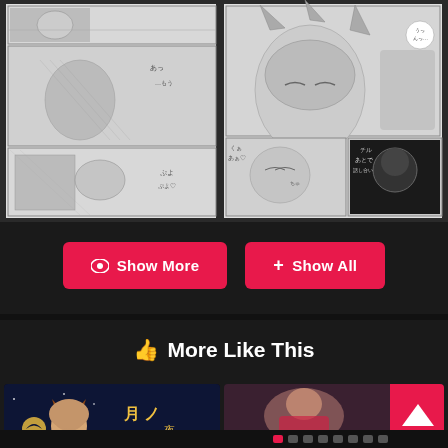[Figure (illustration): Manga/doujinshi preview panels - left side showing two manga panels with black and white artwork]
[Figure (illustration): Manga/doujinshi preview panels - right side showing two manga panels with black and white artwork]
Show More
Show All
More Like This
[Figure (illustration): Thumbnail: anime girl with horns and moon, Japanese text 月ノ]
[Figure (illustration): Thumbnail: anime/illustration content with pink scroll-up button overlay]
[Figure (illustration): Dark thumbnail area with pagination dots]